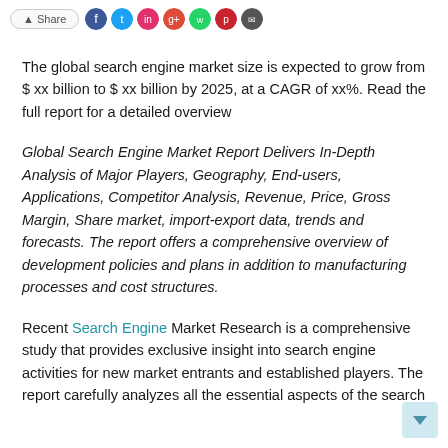[Figure (other): Share button and social media icons row at top of page]
The global search engine market size is expected to grow from $ xx billion to $ xx billion by 2025, at a CAGR of xx%. Read the full report for a detailed overview
Global Search Engine Market Report Delivers In-Depth Analysis of Major Players, Geography, End-users, Applications, Competitor Analysis, Revenue, Price, Gross Margin, Share market, import-export data, trends and forecasts. The report offers a comprehensive overview of development policies and plans in addition to manufacturing processes and cost structures.
Recent Search Engine Market Research is a comprehensive study that provides exclusive insight into search engine activities for new market entrants and established players. The report carefully analyzes all the essential aspects of the search